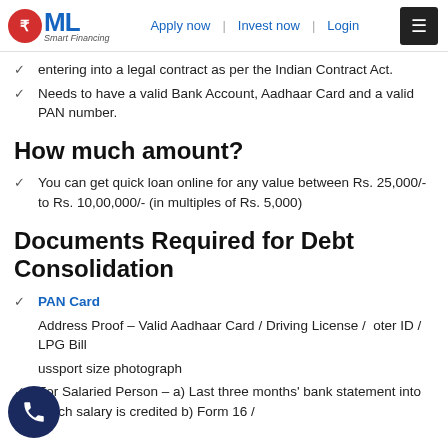RML Smart Financing — Apply now | Invest now | Login
entering into a legal contract as per the Indian Contract Act.
Needs to have a valid Bank Account, Aadhaar Card and a valid PAN number.
How much amount?
You can get quick loan online for any value between Rs. 25,000/- to Rs. 10,00,000/- (in multiples of Rs. 5,000)
Documents Required for Debt Consolidation
PAN Card
Address Proof – Valid Aadhaar Card / Driving License / Voter ID / LPG Bill
Passport size photograph
For Salaried Person – a) Last three months' bank statement into which salary is credited b) Form 16 /